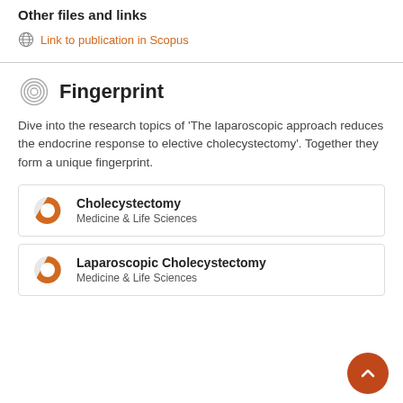Other files and links
Link to publication in Scopus
Fingerprint
Dive into the research topics of 'The laparoscopic approach reduces the endocrine response to elective cholecystectomy'. Together they form a unique fingerprint.
Cholecystectomy — Medicine & Life Sciences
Laparoscopic Cholecystectomy — Medicine & Life Sciences